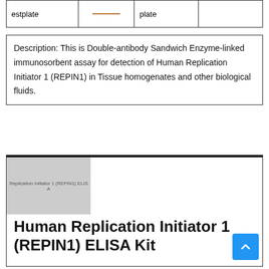| estplate |  | plate |  |
Description: This is Double-antibody Sandwich Enzyme-linked immunosorbent assay for detection of Human Replication Initiator 1 (REPIN1) in Tissue homogenates and other biological fluids.
[Figure (photo): Product image placeholder for Human Replication Initiator 1 (REPIN1) ELISA Kit]
Human Replication Initiator 1 (REPIN1) ELISA Kit